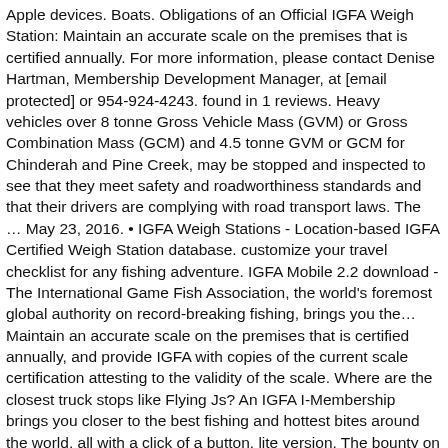Apple devices. Boats. Obligations of an Official IGFA Weigh Station: Maintain an accurate scale on the premises that is certified annually. For more information, please contact Denise Hartman, Membership Development Manager, at [email protected] or 954-924-4243. found in 1 reviews. Heavy vehicles over 8 tonne Gross Vehicle Mass (GVM) or Gross Combination Mass (GCM) and 4.5 tonne GVM or GCM for Chinderah and Pine Creek, may be stopped and inspected to see that they meet safety and roadworthiness standards and that their drivers are complying with road transport laws. The … May 23, 2016. • IGFA Weigh Stations - Location-based IGFA Certified Weigh Station database. customize your travel checklist for any fishing adventure. IGFA Mobile 2.2 download - The International Game Fish Association, the world's foremost global authority on record-breaking fishing, brings you the… Maintain an accurate scale on the premises that is certified annually, and provide IGFA with copies of the current scale certification attesting to the validity of the scale. Where are the closest truck stops like Flying Js? An IGFA I-Membership brings you closer to the best fishing and hottest bites around the world, all with a click of a button. lite version. The bounty on Halstead's head becomes a serious reality as an innocent bartender takes a bullet meant for him. 1.0.0.0. Hundreds of catches are certified on Official IGFA Weigh Station scales each year. We are a certified IGFA weigh station, which provides a great service to those anglers wanting to weigh their fish for either potential world